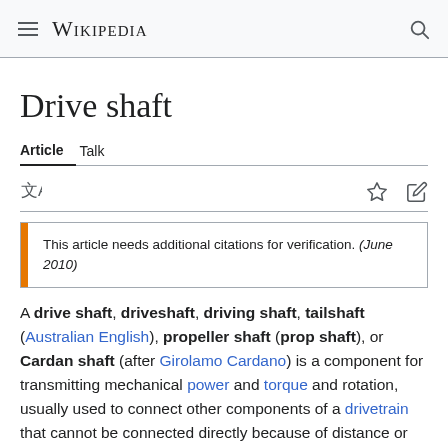Wikipedia
Drive shaft
Article  Talk
This article needs additional citations for verification. (June 2010)
A drive shaft, driveshaft, driving shaft, tailshaft (Australian English), propeller shaft (prop shaft), or Cardan shaft (after Girolamo Cardano) is a component for transmitting mechanical power and torque and rotation, usually used to connect other components of a drivetrain that cannot be connected directly because of distance or the need to allow for relative movement between them.